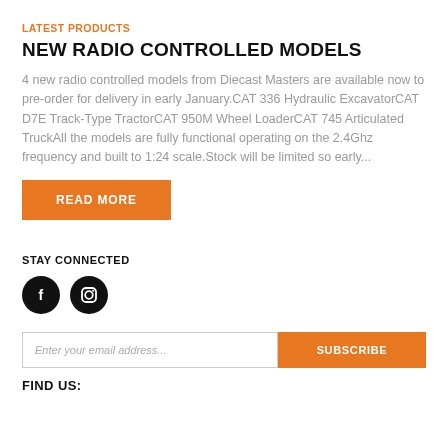LATEST PRODUCTS
NEW RADIO CONTROLLED MODELS
4 new radio controlled models from Diecast Masters are available now to pre-order for delivery in early January.CAT 336 Hydraulic ExcavatorCAT D7E Track-Type TractorCAT 950M Wheel LoaderCAT 745 Articulated TruckAll the models are fully functional operating on the 2.4Ghz frequency and built to 1:24 scale.Stock will be limited so early...
READ MORE
STAY CONNECTED
[Figure (illustration): Two circular social media icons: Facebook (f) and Instagram (camera icon), both black circles with white icons]
Enter your email address...
SUBSCRIBE
FIND US: